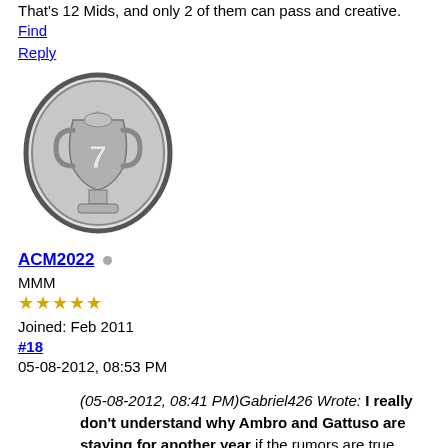That's 12 Mids, and only 2 of them can pass and creative.
Find
Reply
[Figure (illustration): Forum user avatar showing a silver Champions League trophy badge with the number 7]
ACM2022 [online dot]
MMM
★★★★★
Joined: Feb 2011
#18
05-08-2012, 08:53 PM
(05-08-2012, 08:41 PM)Gabriel426 Wrote: I really don't understand why Ambro and Gattuso are staying for another year if the rumors are true about MGt already signed Troare and Monty along with offering Flamini to stay.

Then the Milan mid will be Nocerino, Monty, Flamini, Boateng, Merkel, Muntari, Strasser, Flamini, Urby, Ambro, Gattuso and Troare.